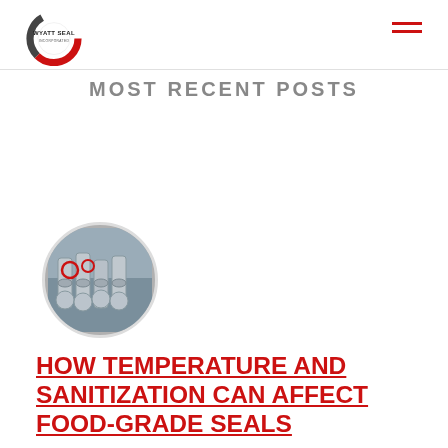Wyatt Seal — site header with logo and navigation menu icon
MOST RECENT POSTS
[Figure (photo): Circular thumbnail image showing industrial machinery or valves/seals in a manufacturing environment, with red-highlighted components visible]
HOW TEMPERATURE AND SANITIZATION CAN AFFECT FOOD-GRADE SEALS